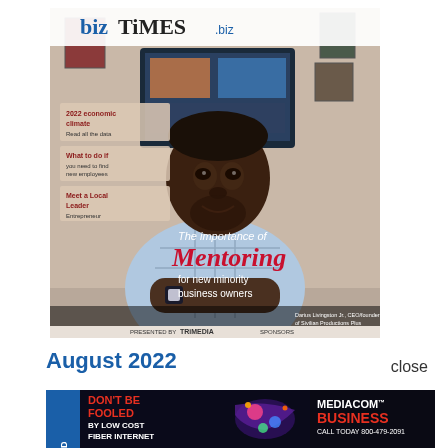[Figure (photo): BizTimes magazine cover for August 2022 featuring a man seated and smiling with text overlay reading 'The importance of Mentoring for new minority business owners'. The magazine logo 'bizTiMES.biz' appears at the top. Small sidebar text items visible on left side. Bottom of cover shows 'TMmedia' branding.]
August 2022
close
[Figure (screenshot): Advertisement banner: dark background with red/orange text 'DON'T BE FOOLED BY LOW COST FIBER INTERNET' on left, colorful graphic in center, and right side shows 'MEDIACOM BUSINESS CALL TODAY 800-479-2091' in red and white text.]